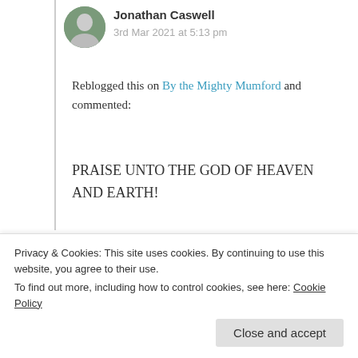Jonathan Caswell
3rd Mar 2021 at 5:13 pm
Reblogged this on By the Mighty Mumford and commented:
PRAISE UNTO THE GOD OF HEAVEN AND EARTH!
★ Liked by 2 people
Log in to Reply
Privacy & Cookies: This site uses cookies. By continuing to use this website, you agree to their use.
To find out more, including how to control cookies, see here: Cookie Policy
Close and accept